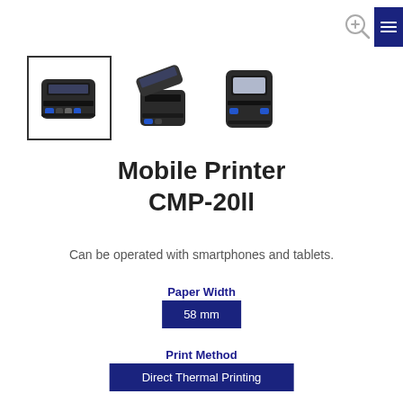[Figure (photo): Three product photos of the Mobile Printer CMP-20ll. The first image is selected (bordered), showing the printer from a side-angle perspective. The second shows the printer with the cover open. The third shows the front face of the printer.]
Mobile Printer CMP-20ll
Can be operated with smartphones and tablets.
Paper Width
58 mm
Print Method
Direct Thermal Printing